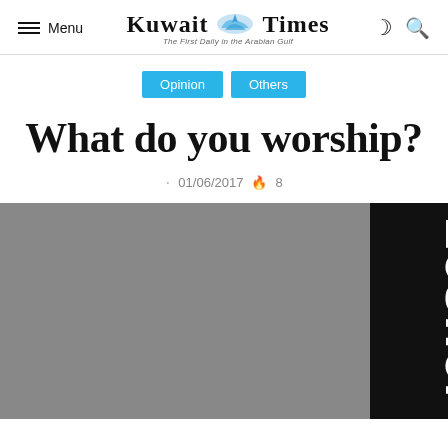Menu | Kuwait Times — The First Daily in the Arabian Gulf
Opinion
Others
What do you worship?
· 01/06/2017 🔥 8
[Figure (photo): Article image: left portion is a gray rectangle; right portion is a black vertical banner with the word 'Lesher' rotated 90 degrees in large white bold text.]